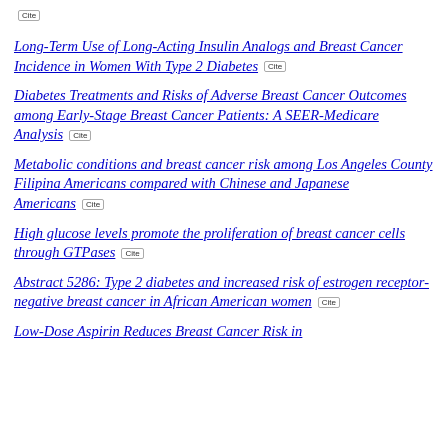Cite
Long-Term Use of Long-Acting Insulin Analogs and Breast Cancer Incidence in Women With Type 2 Diabetes  Cite
Diabetes Treatments and Risks of Adverse Breast Cancer Outcomes among Early-Stage Breast Cancer Patients: A SEER-Medicare Analysis  Cite
Metabolic conditions and breast cancer risk among Los Angeles County Filipina Americans compared with Chinese and Japanese Americans  Cite
High glucose levels promote the proliferation of breast cancer cells through GTPases  Cite
Abstract 5286: Type 2 diabetes and increased risk of estrogen receptor-negative breast cancer in African American women  Cite
Low-Dose Aspirin Reduces Breast Cancer Risk in